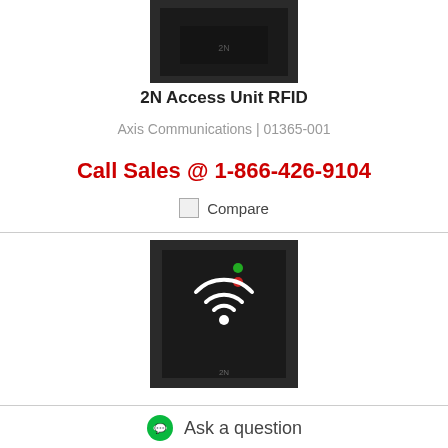[Figure (photo): 2N Access Unit RFID device - top portion cropped, dark square panel on white background]
2N Access Unit RFID
Axis Communications | 01365-001
Call Sales @ 1-866-426-9104
Compare
[Figure (photo): 2N Access Unit RFID device - full front view showing dark square panel with WiFi/RFID symbol, green and red LED indicators, and 2N logo]
Ask a question